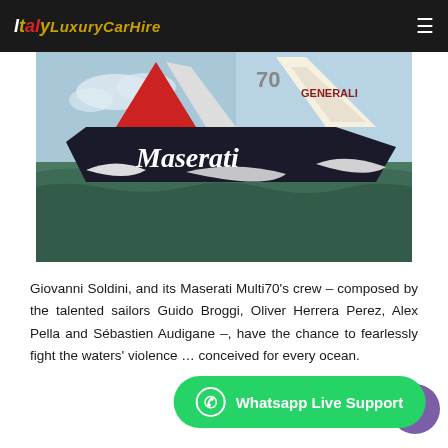ItalyLuxuryCarHire
[Figure (photo): A Maserati-branded Multi70 racing sailboat cutting through the water at speed, with white hull featuring the Maserati script logo; red and white sails visible with Generali branding]
Giovanni Soldini, and its Maserati Multi70's crew – composed by the talented sailors Guido Broggi, Oliver Herrera Perez, Alex Pella and Sébastien Audigane –, have the chance to fearlessly fight the waters' violence … conceived for every ocean.